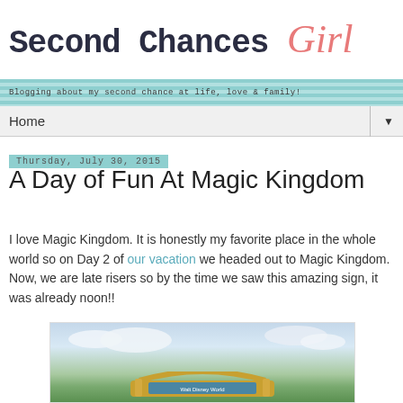Second Chances Girl — Blogging about my second chance at life, love & family!
Home
Thursday, July 30, 2015
A Day of Fun At Magic Kingdom
I love Magic Kingdom. It is honestly my favorite place in the whole world so on Day 2 of our vacation we headed out to Magic Kingdom. Now, we are late risers so by the time we saw this amazing sign, it was already noon!!
[Figure (photo): Photo of the Walt Disney World Magic Kingdom entrance sign with palm trees and cloudy sky]